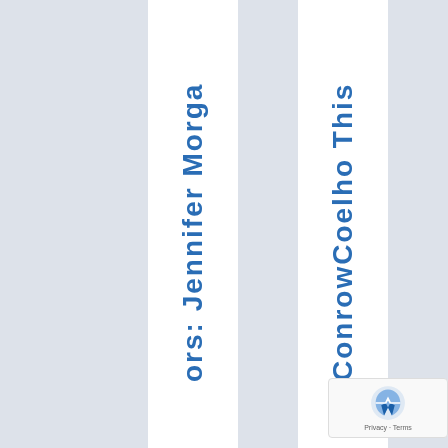ors: Jennifer Morga
ConrowCoelho This
[Figure (other): reCAPTCHA Privacy - Terms badge in bottom right corner]